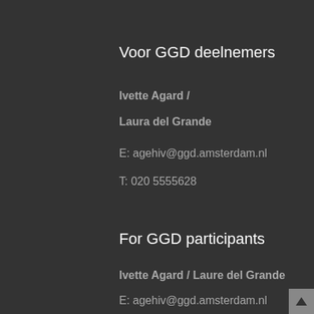Voor GGD deelnemers
Ivette Agard / Laura del Grande
E: agehiv@ggd.amsterdam.nl
T: 020 5555628
For GGD participants
Ivette Agard / Laure del Grande
E: agehiv@ggd.amsterdam.nl